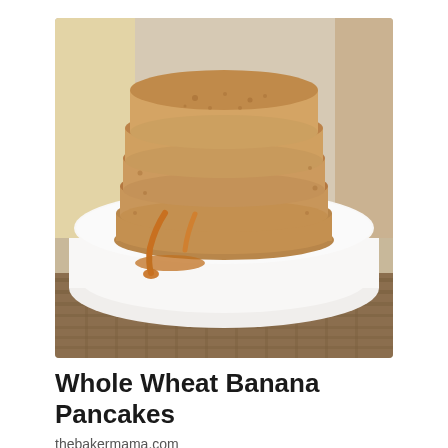[Figure (photo): A tall stack of whole wheat banana pancakes drizzled with amber maple syrup, served on a white plate, placed on a woven straw mat. The pancakes are golden-brown with a slightly rustic texture, and syrup is visibly dripping down the sides.]
Whole Wheat Banana Pancakes
thebakermama.com